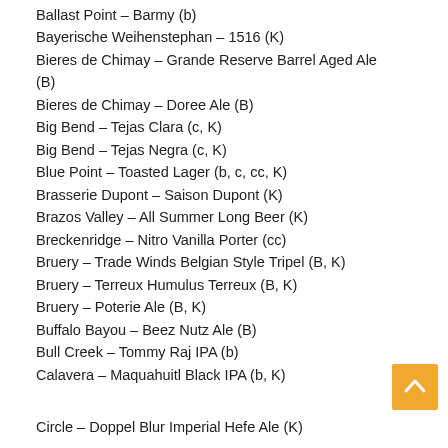Ballast Point – Barmy (b)
Bayerische Weihenstephan – 1516 (K)
Bieres de Chimay – Grande Reserve Barrel Aged Ale (B)
Bieres de Chimay – Doree Ale (B)
Big Bend – Tejas Clara (c, K)
Big Bend – Tejas Negra (c, K)
Blue Point – Toasted Lager (b, c, cc, K)
Brasserie Dupont – Saison Dupont (K)
Brazos Valley – All Summer Long Beer (K)
Breckenridge – Nitro Vanilla Porter (cc)
Bruery – Trade Winds Belgian Style Tripel (B, K)
Bruery – Terreux Humulus Terreux (B, K)
Bruery – Poterie Ale (B, K)
Buffalo Bayou – Beez Nutz Ale (B)
Bull Creek – Tommy Raj IPA (b)
Calavera – Maquahuitl Black IPA (b, K)
Circle – Doppel Blur Imperial Hefe Ale (K)